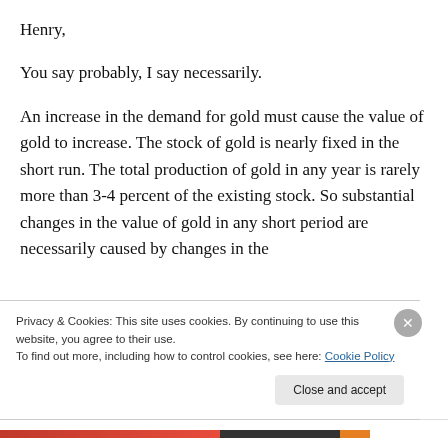Henry,
You say probably, I say necessarily.
An increase in the demand for gold must cause the value of gold to increase. The stock of gold is nearly fixed in the short run. The total production of gold in any year is rarely more than 3-4 percent of the existing stock. So substantial changes in the value of gold in any short period are necessarily caused by changes in the
Privacy & Cookies: This site uses cookies. By continuing to use this website, you agree to their use.
To find out more, including how to control cookies, see here: Cookie Policy